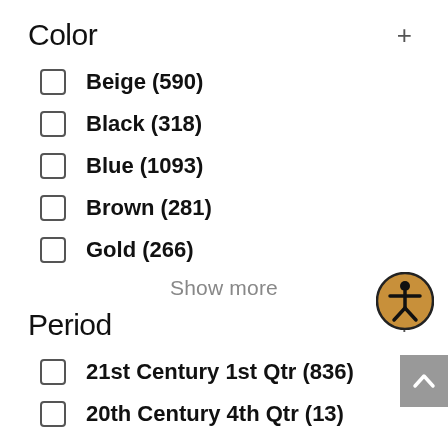Color +
Beige (590)
Black (318)
Blue (1093)
Brown (281)
Gold (266)
Show more
[Figure (illustration): Accessibility icon: golden/brown circle with a human figure silhouette inside]
Period +
21st Century 1st Qtr (836)
20th Century 4th Qtr (13)